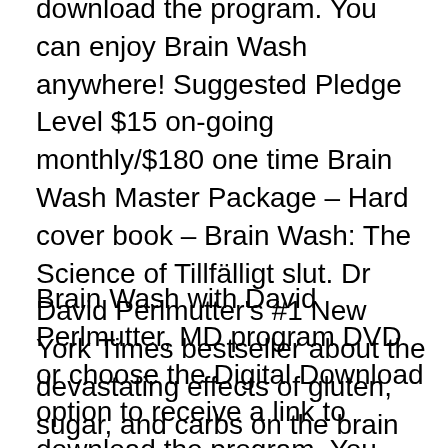download the program. You can enjoy Brain Wash anywhere! Suggested Pledge Level $15 on-going monthly/$180 one time Brain Wash Master Package – Hard cover book – Brain Wash: The Science of Tillfälligt slut. Dr David Perlmutter's #1 New York Times bestseller about the devastating effects of gluten, sugar, and carbs on the brain and body - updated with the latest nutritional and neurological science. When Grain Brain was published in 2013, Dr Perlmutte Läs mer ».
Brain Wash with David Perlmutter, MD program DVD or choose the Digital Download option to receive a link to download the program. You can enjoy Brain Wash anywhere! Brain Wash Master Package - Hardcover book – Brain Wash: The Science of Reconnection - Brain Wash Program